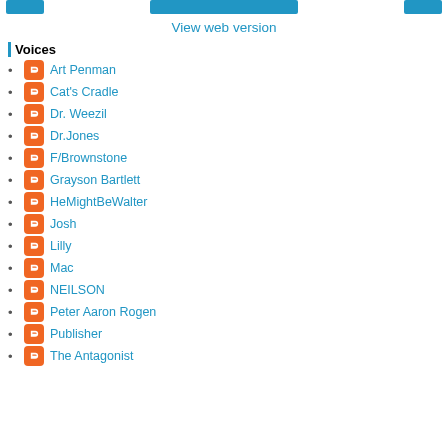[navigation buttons]
View web version
Voices
Art Penman
Cat's Cradle
Dr. Weezil
Dr.Jones
F/Brownstone
Grayson Bartlett
HeMightBeWalter
Josh
Lilly
Mac
NEILSON
Peter Aaron Rogen
Publisher
The Antagonist